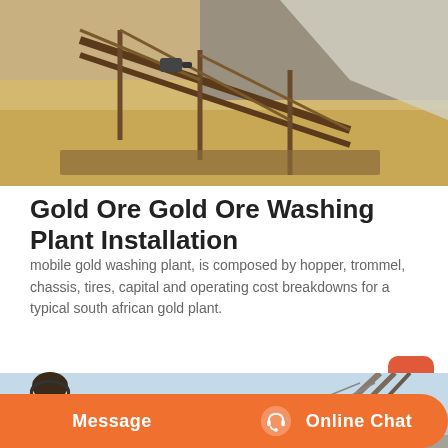[Figure (photo): Industrial gold ore washing plant machinery with conveyor and frame structure, viewed from above at an angle. Sandy/earthy tones.]
Gold Ore Gold Ore Washing Plant Installation
mobile gold washing plant, is composed by hopper, trommel, chassis, tires, capital and operating cost breakdowns for a typical south african gold plant.
[Figure (photo): Industrial machinery against a light blue sky background with diagonal structural elements.]
[Figure (photo): Customer service agent (woman with headset) in bottom-left corner of the page.]